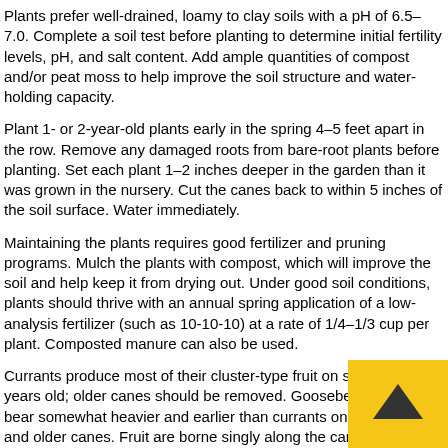Plants prefer well-drained, loamy to clay soils with a pH of 6.5–7.0. Complete a soil test before planting to determine initial fertility levels, pH, and salt content. Add ample quantities of compost and/or peat moss to help improve the soil structure and water-holding capacity.
Plant 1- or 2-year-old plants early in the spring 4–5 feet apart in the row. Remove any damaged roots from bare-root plants before planting. Set each plant 1–2 inches deeper in the garden than it was grown in the nursery. Cut the canes back to within 5 inches of the soil surface. Water immediately.
Maintaining the plants requires good fertilizer and pruning programs. Mulch the plants with compost, which will improve the soil and help keep it from drying out. Under good soil conditions, plants should thrive with an annual spring application of a low-analysis fertilizer (such as 10-10-10) at a rate of 1/4–1/3 cup per plant. Composted manure can also be used.
Currants produce most of their cluster-type fruit on spurs 2–3 years old; older canes should be removed. Gooseberries tend to bear somewhat heavier and earlier than currants on 1-year-old and older canes. Fruit are borne singly along the canes. To prune both currants and gooseberries, remove any canes older than 3 years and thi...
[Figure (other): Back-to-top navigation button: yellow/gold square with dark upward-pointing chevron arrow]